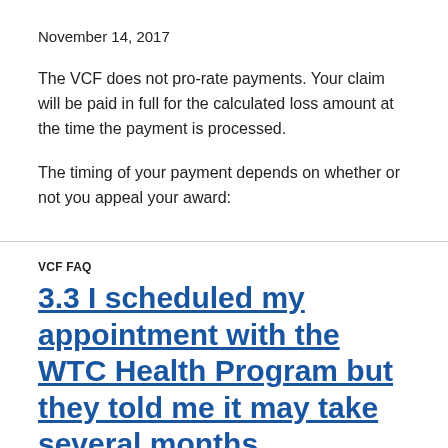November 14, 2017
The VCF does not pro-rate payments. Your claim will be paid in full for the calculated loss amount at the time the payment is processed.
The timing of your payment depends on whether or not you appeal your award:
VCF FAQ
3.3 I scheduled my appointment with the WTC Health Program but they told me it may take several months